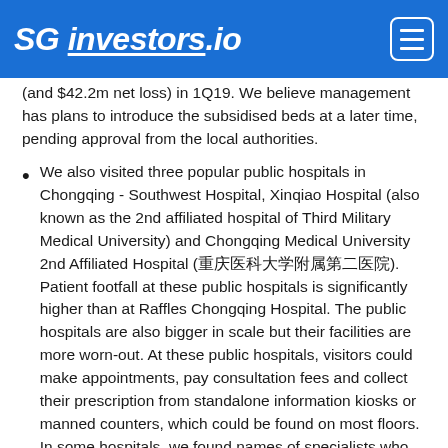SG investors.io
(and $42.2m net loss) in 1Q19. We believe management has plans to introduce the subsidised beds at a later time, pending approval from the local authorities.
We also visited three popular public hospitals in Chongqing - Southwest Hospital, Xinqiao Hospital (also known as the 2nd affiliated hospital of Third Military Medical University) and Chongqing Medical University 2nd Affiliated Hospital (重庆医科大学附属第二医院). Patient footfall at these public hospitals is significantly higher than at Raffles Chongqing Hospital. The public hospitals are also bigger in scale but their facilities are more worn-out. At these public hospitals, visitors could make appointments, pay consultation fees and collect their prescription from standalone information kiosks or manned counters, which could be found on most floors. In some hospitals, we found names of specialists who were on duty for the week put on display, as well as consultation charges which vary